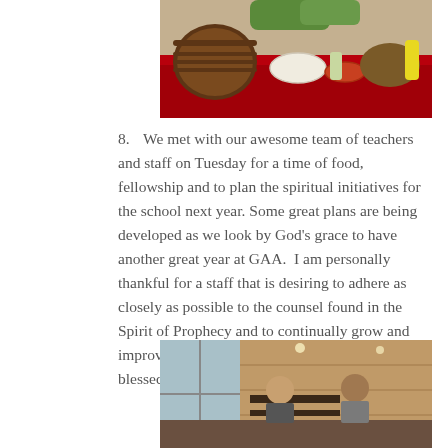[Figure (photo): Photo of a table with a red tablecloth, a wicker basket, bowls of food and condiments]
8.  We met with our awesome team of teachers and staff on Tuesday for a time of food, fellowship and to plan the spiritual initiatives for the school next year. Some great plans are being developed as we look by God’s grace to have another great year at GAA.  I am personally thankful for a staff that is desiring to adhere as closely as possible to the counsel found in the Spirit of Prophecy and to continually grow and improve the spiritual tone of our school  We are blessed.
[Figure (photo): Photo of people sitting at tables in a restaurant with wood-paneled walls and large windows]